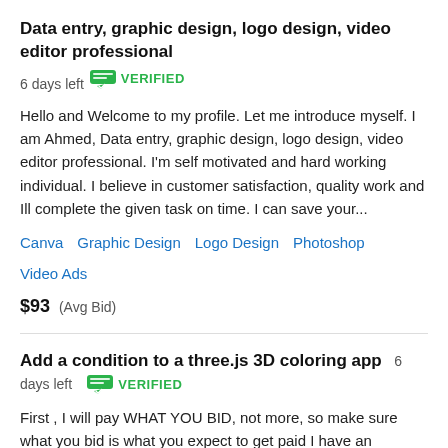Data entry, graphic design, logo design, video editor professional  6 days left  VERIFIED
Hello and Welcome to my profile. Let me introduce myself. I am Ahmed, Data entry, graphic design, logo design, video editor professional. I'm self motivated and hard working individual. I believe in customer satisfaction, quality work and Ill complete the given task on time. I can save your...
Canva  Graphic Design  Logo Design  Photoshop  Video Ads
$93  (Avg Bid)
Add a condition to a three.js 3D coloring app  6 days left  VERIFIED
First , I will pay WHAT YOU BID, not more, so make sure what you bid is what you expect to get paid I have an browser base Js app to color multi part stl Each object of the STL can be colored individualy , they are all loaded in a